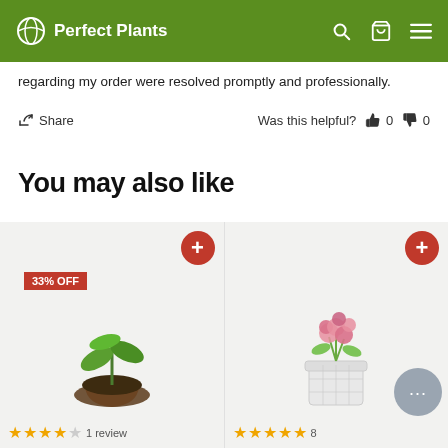Perfect Plants
regarding my order were resolved promptly and professionally.
Share   Was this helpful?  👍 0  👎 0
You may also like
[Figure (photo): Two product cards side by side: left card shows a small green plant in soil with a '33% OFF' badge and a red + button; right card shows a white pot with pink flowers and a red + button.]
★★★★☆ 1 review   ★★★★★ 8